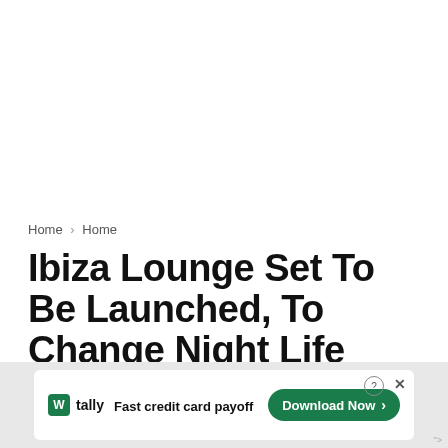Home › Home
Ibiza Lounge Set To Be Launched, To Change Night Life Business In Ibadan
IDE0v by InsideOvo — August 17, 2021
[Figure (screenshot): Tally advertisement banner: 'Fast credit card payoff' with green Download Now button]